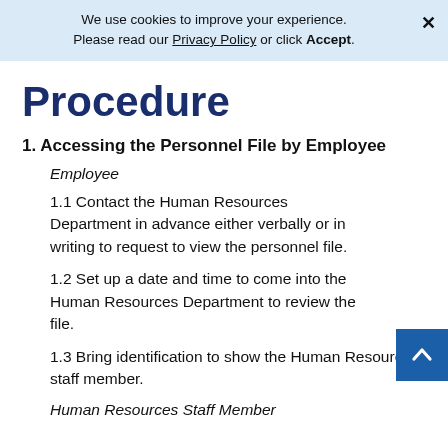We use cookies to improve your experience. Please read our Privacy Policy or click Accept.
Procedure
1. Accessing the Personnel File by Employee
Employee
1.1 Contact the Human Resources Department in advance either verbally or in writing to request to view the personnel file.
1.2 Set up a date and time to come into the Human Resources Department to review the file.
1.3 Bring identification to show the Human Resources staff member.
Human Resources Staff Member